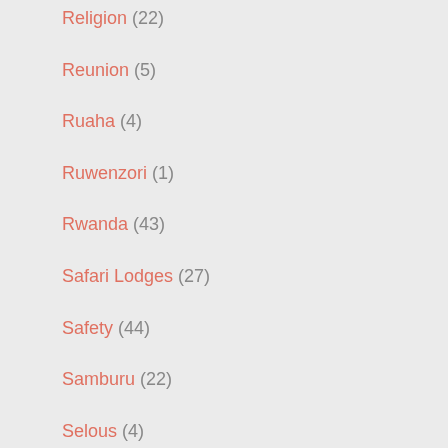Religion (22)
Reunion (5)
Ruaha (4)
Ruwenzori (1)
Rwanda (43)
Safari Lodges (27)
Safety (44)
Samburu (22)
Selous (4)
Serengeti (90)
Seychelles (4)